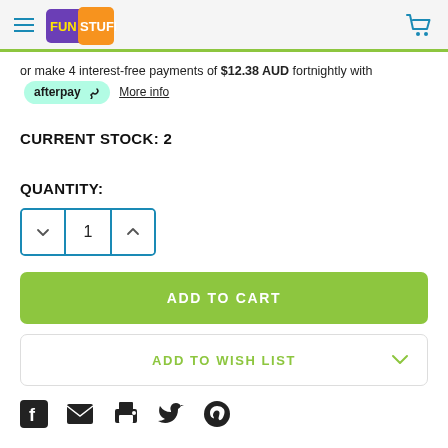Fun Stuff - navigation header with hamburger menu and cart icon
or make 4 interest-free payments of $12.38 AUD fortnightly with afterpay  More info
CURRENT STOCK: 2
QUANTITY:
[Figure (other): Quantity selector control with decrement, value (1), and increment buttons]
ADD TO CART
ADD TO WISH LIST
[Figure (other): Social share icons: Facebook, Email, Print, Twitter, Pinterest]